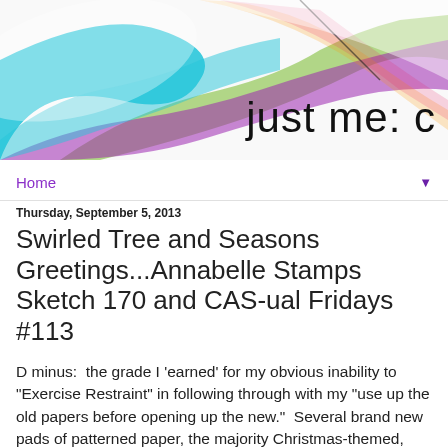[Figure (illustration): Blog header banner with colorful swirling wave design in teal, green, purple, and white with the text 'just me: c' in the lower right]
Home ▼
Thursday, September 5, 2013
Swirled Tree and Seasons Greetings...Annabelle Stamps Sketch 170 and CAS-ual Fridays #113
D minus:  the grade I 'earned' for my obvious inability to "Exercise Restraint" in following through with my "use up the old papers before opening up the new."  Several brand new pads of patterned paper, the majority Christmas-themed, arrived recently. They sat, untouched, glanced at occasionally (though longingly), nestled in a wicker basket